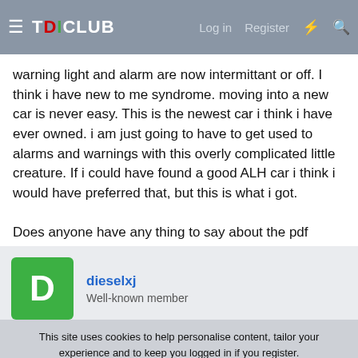TDICLUB | Log in | Register
warning light and alarm are now intermittant or off. I think i have new to me syndrome. moving into a new car is never easy. This is the newest car i think i have ever owned. i am just going to have to get used to alarms and warnings with this overly complicated little creature. If i could have found a good ALH car i think i would have preferred that, but this is what i got.

Does anyone have any thing to say about the pdf versions of the FSM that i see on ebay for $10 ish
dieselxj
Well-known member
This site uses cookies to help personalise content, tailor your experience and to keep you logged in if you register.
By continuing to use this site, you are consenting to our use of cookies.